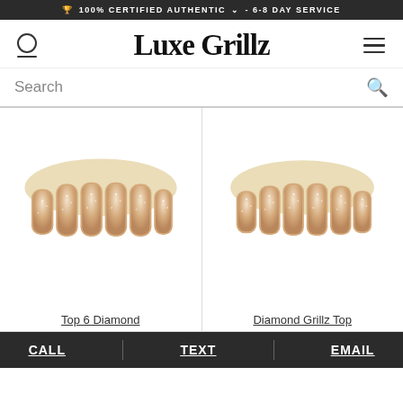🏆 100% CERTIFIED AUTHENTIC ∨ - 6-8 DAY SERVICE
Luxe Grillz
Search
[Figure (photo): Top 6 Diamond grillz with rose gold and diamond-encrusted teeth, product photo on white background]
Top 6 Diamond
[Figure (photo): Diamond Grillz Top product with rose gold and diamond-encrusted teeth, product photo on white background]
Diamond Grillz Top
CALL  TEXT  EMAIL